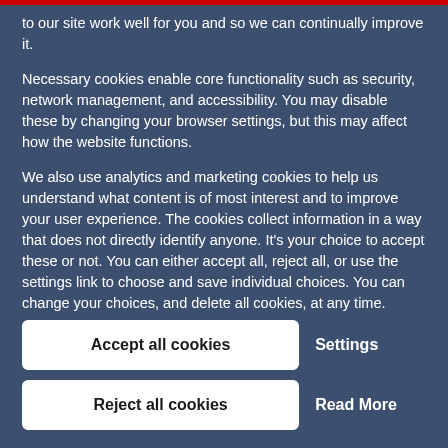to our site work well for you and so we can continually improve it.
Necessary cookies enable core functionality such as security, network management, and accessibility. You may disable these by changing your browser settings, but this may affect how the website functions.
We also use analytics and marketing cookies to help us understand what content is of most interest and to improve your user experience. The cookies collect information in a way that does not directly identify anyone. It’s your choice to accept these or not. You can either accept all, reject all, or use the settings link to choose and save individual choices. You can change your choices, and delete all cookies, at any time.
Accept all cookies
Settings
Reject all cookies
Read More